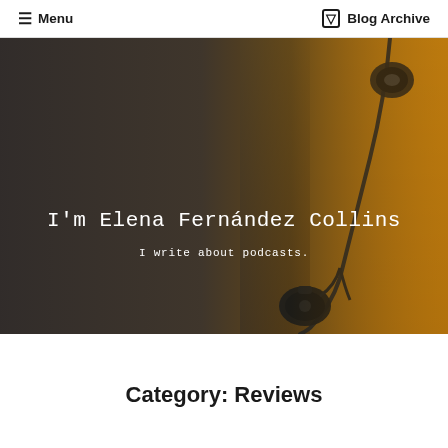≡ Menu   ❒ Blog Archive
[Figure (photo): A photo of earbuds/in-ear headphones against an orange/amber background, with dark overlay on the left side. White text overlaid reads: I'm Elena Fernández Collins / I write about podcasts.]
I'm Elena Fernández Collins
I write about podcasts.
Category: Reviews